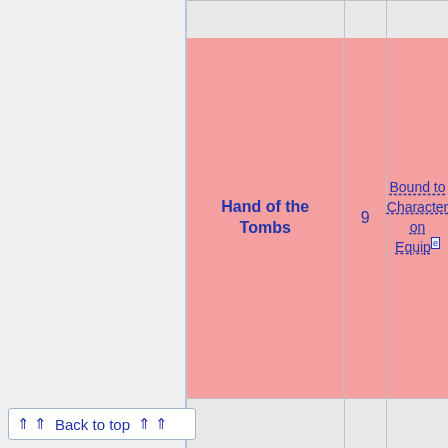| Name | Level | Binding |
| --- | --- | --- |
| Hand of the Tombs | 9 | Bound to Character on Equip |
Back to top